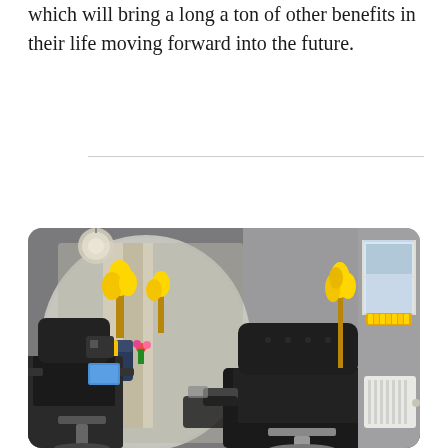which will bring a long a ton of other benefits in their life moving forward into the future.
[Figure (photo): Interior of a modern hair salon showing styling chairs with black leather upholstery, a large round mirror, yellow flower arrangements, curtained windows, a window sill with yellow decorative containers, and a white radiator on the right wall. The overall color scheme is grey, black, and yellow.]